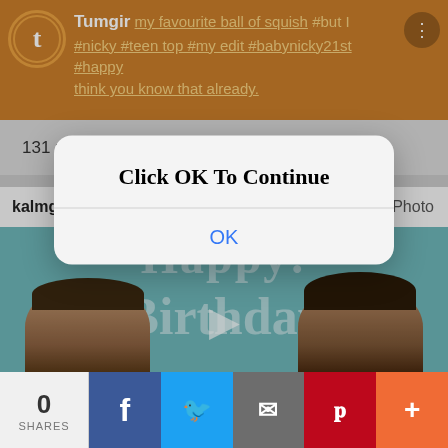[Figure (screenshot): Tumblr app header bar with orange background, Tumblr logo, hashtag text, and three-dot menu]
131 notes · View notes
kalmgirl · 7 years ago  Photo
[Figure (photo): Teal background with 'Happy Birthday' text overlay and two person faces with arrow between them]
[Figure (screenshot): iOS-style modal dialog with text 'Click OK To Continue' and an OK button]
0 SHARES
[Figure (infographic): Social share bar with Facebook, Twitter, email, Pinterest, and more buttons]